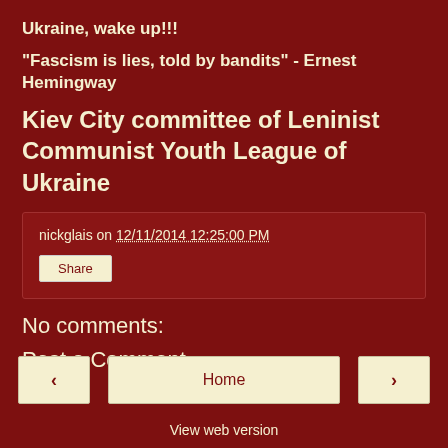Ukraine, wake up!!!
"Fascism is lies, told by bandits" - Ernest Hemingway
Kiev City committee of Leninist Communist Youth League of Ukraine
nickglais on 12/11/2014 12:25:00 PM
Share
No comments:
Post a Comment
Home
View web version